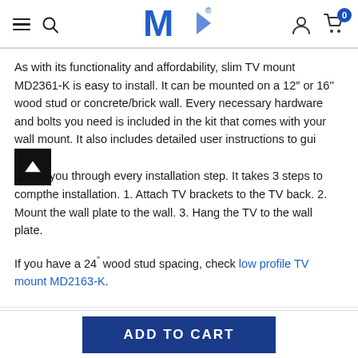MountIt! website header navigation
As with its functionality and affordability, slim TV mount MD2361-K is easy to install. It can be mounted on a 12″ or 16'' wood stud or concrete/brick wall. Every necessary hardware and bolts you need is included in the kit that comes with your wall mount. It also includes detailed user instructions to guide you through every installation step. It takes 3 steps to complete the installation. 1. Attach TV brackets to the TV back. 2. Mount the wall plate to the wall. 3. Hang the TV to the wall plate.
If you have a 24" wood stud spacing, check low profile TV mount MD2163-K.
ADD TO CART